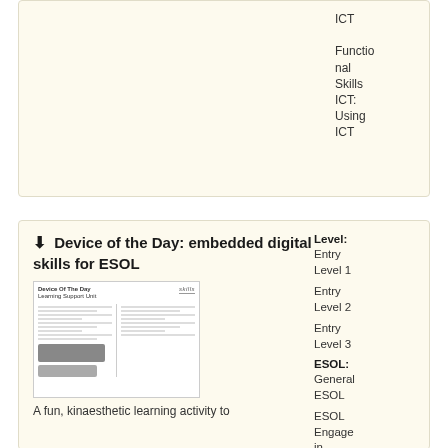ICT
Functional Skills ICT: Using ICT
Device of the Day: embedded digital skills for ESOL
[Figure (photo): Thumbnail image of a worksheet document titled 'Device of the Day' with skills logo]
Level: Entry Level 1
Entry Level 2
Entry Level 3
ESOL: General ESOL
ESOL Engage in...
A fun, kinaesthetic learning activity to